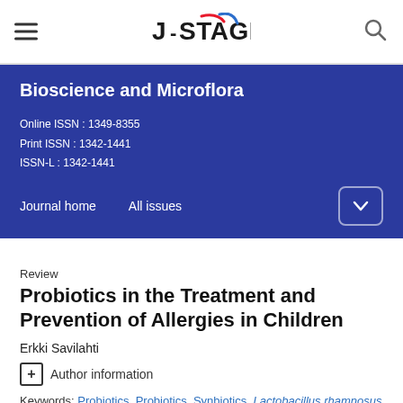J-STAGE
Bioscience and Microflora
Online ISSN : 1349-8355
Print ISSN : 1342-1441
ISSN-L : 1342-1441
Journal home    All issues
Review
Probiotics in the Treatment and Prevention of Allergies in Children
Erkki Savilahti
+ Author information
Keywords: Probiotics, Probiotics, Synbiotics, Lactobacillus rhamnosus